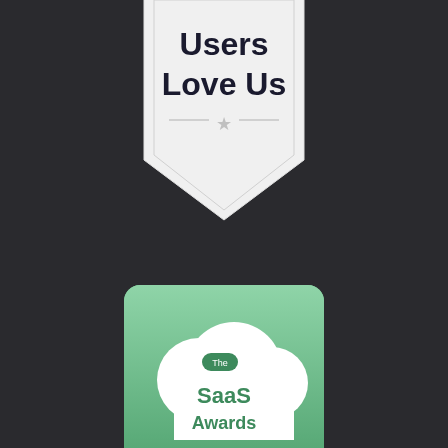[Figure (logo): Users Love Us badge - white pentagon/shield shape with star, text 'Users Love Us' in dark bold font]
[Figure (logo): The SaaS Awards Finalist 2020 badge - green rounded square with white cloud shape containing 'The SaaS Awards' text and 'FINALIST 2020' text at bottom]
Acerca de
API
Blog - Inglés
Blog - Francés
Blog - Español